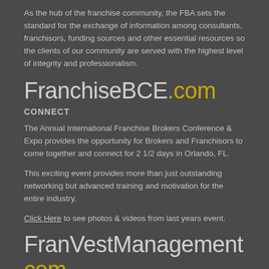As the hub of the franchise community, the FBA sets the standard for the exchange of information among consultants, franchisors, funding sources and other essential resources so the clients of our community are served with the highest level of integrity and professionalism.
FranchiseBCE.com
CONNECT
The Annual International Franchise Brokers Conference & Expo provides the opportunity for Brokers and Franchisors to come together and connect for 2 1/2 days in Orlando, FL.
This exciting event provides more than just outstanding networking but advanced training and motivation for the entire industry.
Click Here to see photos & videos from last years event.
FranVestManagement.com